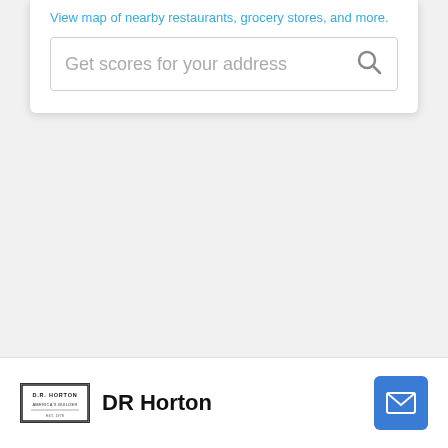View map of nearby restaurants, grocery stores, and more.
Get scores for your address
[Figure (logo): DR Horton company logo with small text block in a rectangular border]
DR Horton
[Figure (other): Blue mail/envelope button icon in bottom right corner]